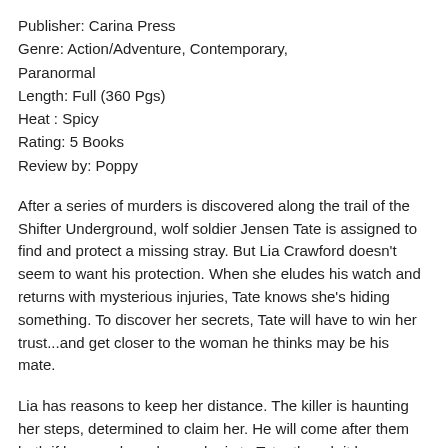Publisher: Carina Press
Genre: Action/Adventure, Contemporary, Paranormal
Length: Full (360 Pgs)
Heat : Spicy
Rating: 5 Books
Review by: Poppy
After a series of murders is discovered along the trail of the Shifter Underground, wolf soldier Jensen Tate is assigned to find and protect a missing stray. But Lia Crawford doesn't seem to want his protection. When she eludes his watch and returns with mysterious injuries, Tate knows she's hiding something. To discover her secrets, Tate will have to win her trust...and get closer to the woman he thinks may be his mate.
Lia has reasons to keep her distance. The killer is haunting her steps, determined to claim her. He will come after them both if he sees how drawn she is to Tate, though it becomes increasingly